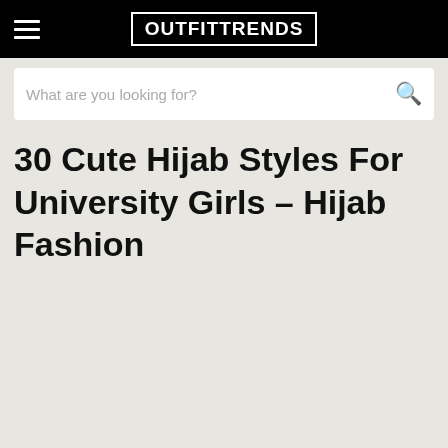OUTFITTRENDS
What are you looking for?
30 Cute Hijab Styles For University Girls – Hijab Fashion